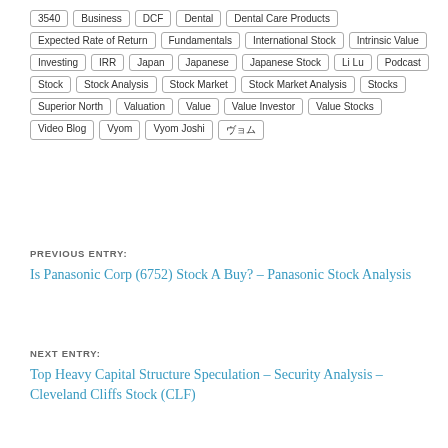3540
Business
DCF
Dental
Dental Care Products
Expected Rate of Return
Fundamentals
International Stock
Intrinsic Value
Investing
IRR
Japan
Japanese
Japanese Stock
Li Lu
Podcast
Stock
Stock Analysis
Stock Market
Stock Market Analysis
Stocks
Superior North
Valuation
Value
Value Investor
Value Stocks
Video Blog
Vyom
Vyom Joshi
ヴョム
PREVIOUS ENTRY:
Is Panasonic Corp (6752) Stock A Buy? – Panasonic Stock Analysis
NEXT ENTRY:
Top Heavy Capital Structure Speculation – Security Analysis – Cleveland Cliffs Stock (CLF)